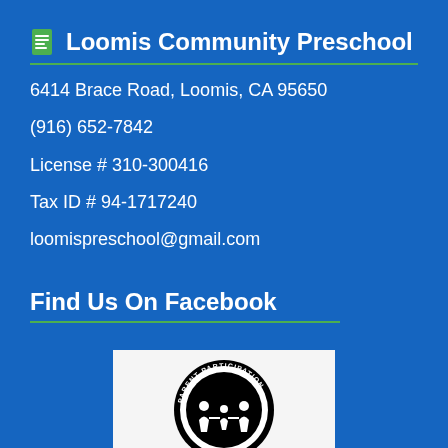Loomis Community Preschool
6414 Brace Road, Loomis, CA 95650
(916) 652-7842
License # 310-300416
Tax ID # 94-1717240
loomispreschool@gmail.com
Find Us On Facebook
[Figure (logo): Parent Participation circular logo with silhouettes of adults and children]